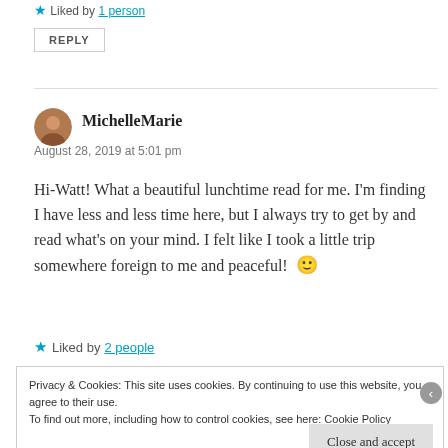★ Liked by 1 person
REPLY
MichelleMarie
August 28, 2019 at 5:01 pm
Hi-Watt! What a beautiful lunchtime read for me. I'm finding I have less and less time here, but I always try to get by and read what's on your mind. I felt like I took a little trip somewhere foreign to me and peaceful! 🙂
★ Liked by 2 people
Privacy & Cookies: This site uses cookies. By continuing to use this website, you agree to their use. To find out more, including how to control cookies, see here: Cookie Policy
Close and accept